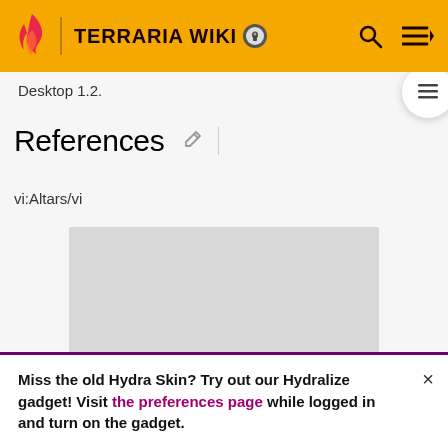TERRARIA WIKI
Desktop 1.2.
References
vi:Altars/vi
[Figure (other): Advertisement placeholder box (grey rectangle)]
ADVERTISEMENT
Miss the old Hydra Skin? Try out our Hydralize gadget! Visit the preferences page while logged in and turn on the gadget.